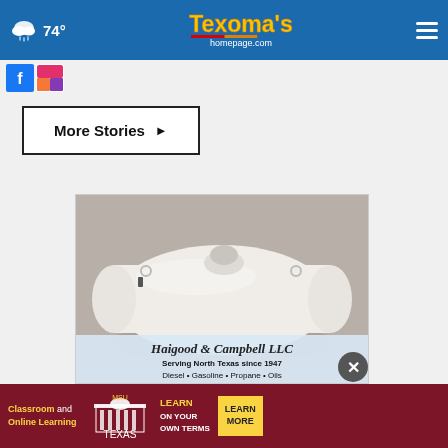74° Texoma's homepage.com
More Stories ▶
[Figure (photo): White propane tank with Haigood & Campbell LLC advertisement. Text reads: Serving North Texas since 1947. Diesel · Gasoline · Propane · Oils]
[Figure (photo): MSU Texas advertisement banner: Classroom and Online Learning. LEARN ON YOUR OWN TERMS. LEARN MORE button.]